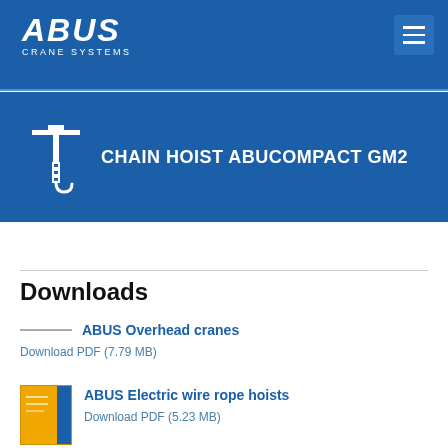ABUS CRANE SYSTEMS
[Figure (logo): ABUS Crane Systems logo with hamburger menu icon on blue navigation bar]
CHAIN HOIST ABUCOMPACT GM2
Downloads
ABUS Overhead cranes
Download PDF (7.79 MB)
ABUS Electric wire rope hoists
Download PDF (5.23 MB)